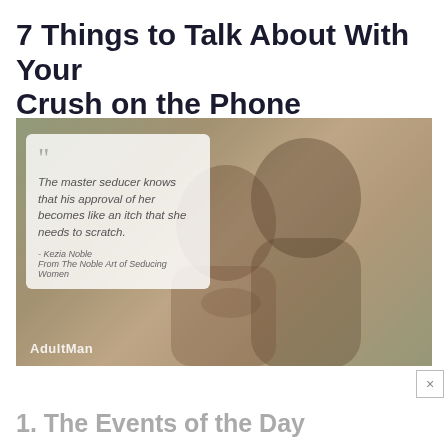7 Things to Talk About With Your Crush on the Phone
[Figure (photo): A couple sitting together outdoors, smiling and looking at a phone. An overlaid quote box reads: 'The master seducer knows that his approval of her becomes like an itch that she needs to scratch.' attributed to Kezia Noble, From The Noble Art of Seducing Women. AdultMan logo in bottom left.]
1. The Events of the Day